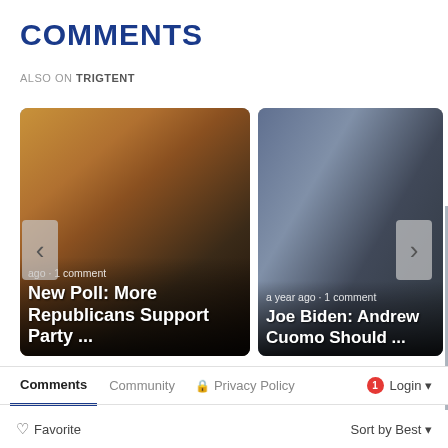COMMENTS
ALSO ON TRIGTENT
[Figure (screenshot): Card showing Trump photo with text: ago • 1 comment / New Poll: More Republicans Support Party ...]
[Figure (screenshot): Card showing Cuomo photo with text: a year ago • 1 comment / Joe Biden: Andrew Cuomo Should ...]
Comments   Community   🔒 Privacy Policy   1   Login ▾
♡ Favorite   Sort by Best ▾